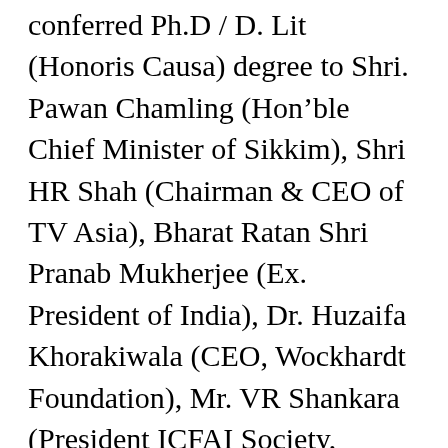conferred Ph.D / D. Lit (Honoris Causa) degree to Shri. Pawan Chamling (Hon'ble Chief Minister of Sikkim), Shri HR Shah (Chairman & CEO of TV Asia), Bharat Ratan Shri Pranab Mukherjee (Ex. President of India), Dr. Huzaifa Khorakiwala (CEO, Wockhardt Foundation), Mr. VR Shankara (President ICFAI Society, Hyderabad ), Hon'ble Sant Balbir Singh Seechewal, Miss Priti Sapru Famous Actress, Shri Lov Verma, IAS (Retd.), Lt. Gen. Shokin Chauhan and Mr. Surjya Narayana Patro, Hon'ble Minister of Odisha. University chancellor's distinguished leadership award under S. Lal